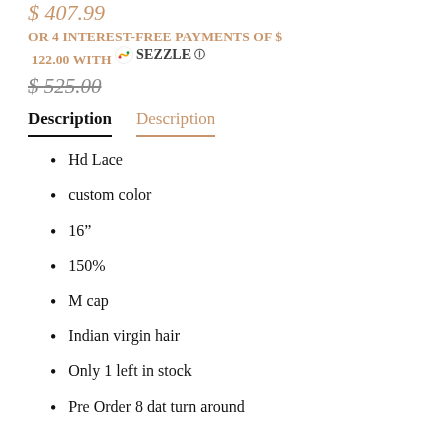$ 407.99
OR 4 INTEREST-FREE PAYMENTS OF $122.00 WITH Sezzle
$ 525.00 (strikethrough)
Description | Description
Hd Lace
custom color
16"
150%
M cap
Indian virgin hair
Only 1 left in stock
Pre Order 8 dat turn around